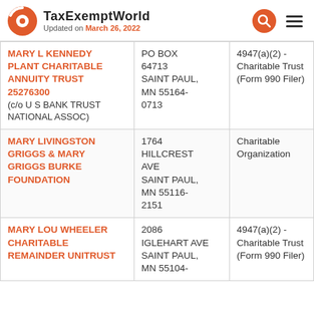TaxExemptWorld — Updated on March 26, 2022
| Organization | Address | Type |
| --- | --- | --- |
| MARY L KENNEDY PLANT CHARITABLE ANNUITY TRUST 25276300 (c/o U S BANK TRUST NATIONAL ASSOC) | PO BOX 64713 SAINT PAUL, MN 55164-0713 | 4947(a)(2) - Charitable Trust (Form 990 Filer) |
| MARY LIVINGSTON GRIGGS & MARY GRIGGS BURKE FOUNDATION | 1764 HILLCREST AVE SAINT PAUL, MN 55116-2151 | Charitable Organization |
| MARY LOU WHEELER CHARITABLE REMAINDER UNITRUST | 2086 IGLEHART AVE SAINT PAUL, MN 55104- | 4947(a)(2) - Charitable Trust (Form 990 Filer) |